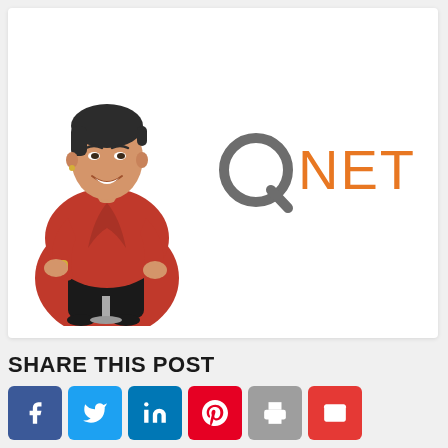[Figure (photo): Professional headshot of an Asian woman in a red blazer and black top, sitting and smiling, against a white background]
[Figure (logo): QNET logo: letter Q in dark grey followed by NET in orange]
SHARE THIS POST
[Figure (infographic): Row of six social share buttons: Facebook (blue), Twitter (light blue), LinkedIn (dark blue), Pinterest (red), Print (grey), Email (red)]